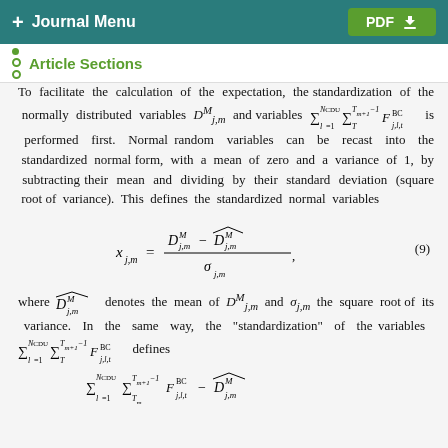+ Journal Menu   PDF ↓
Article Sections
To facilitate the calculation of the expectation, the standardization of the normally distributed variables D^M_{j,m} and variables \sum_{l=1}^{N^{CDU}} \sum_{T_m}^{T_{m+1}-1} F^{BC}_{j,l,t} is performed first. Normal random variables can be recast into the standardized normal form, with a mean of zero and a variance of 1, by subtracting their mean and dividing by their standard deviation (square root of variance). This defines the standardized normal variables
where \widehat{D^M_{j,m}} denotes the mean of D^M_{j,m} and \sigma_{j,m} the square root of its variance. In the same way, the "standardization" of the variables \sum_{l=1}^{N^{CDU}} \sum_{T_m}^{T_{m+1}-1} F^{BC}_{j,l,t} defines